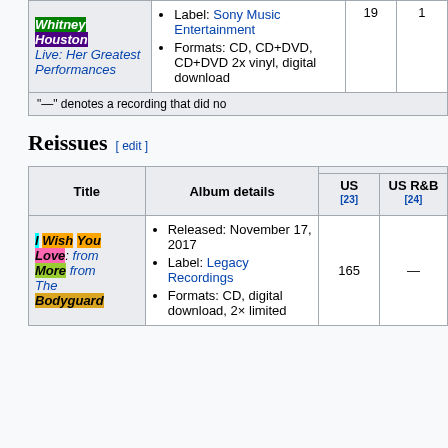| Title | Album details | US | US R&B |
| --- | --- | --- | --- |
| Whitney Houston Live: Her Greatest Performances | Label: Sony Music Entertainment
Formats: CD, CD+DVD, CD+DVD 2x vinyl, digital download | 19 | 1 |
"—" denotes a recording that did no...
Reissues [edit]
| Title | Album details | US [23] | US R&B [24] |
| --- | --- | --- | --- |
| I Wish You Love: More from The Bodyguard | Released: November 17, 2017
Label: Legacy Recordings
Formats: CD, digital download, 2× limited | 165 | — |